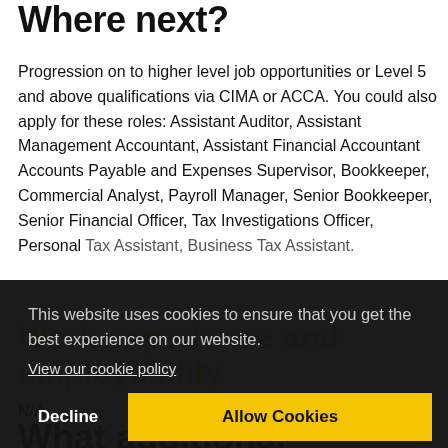Where next?
Progression on to higher level job opportunities or Level 5 and above qualifications via CIMA or ACCA. You could also apply for these roles: Assistant Auditor, Assistant Management Accountant, Assistant Financial Accountant Accounts Payable and Expenses Supervisor, Bookkeeper, Commercial Analyst, Payroll Manager, Senior Bookkeeper, Senior Financial Officer, Tax Investigations Officer, Personal Tax Assistant, Business Tax Assistant.
Work experience and employability
N/A
What additional resources